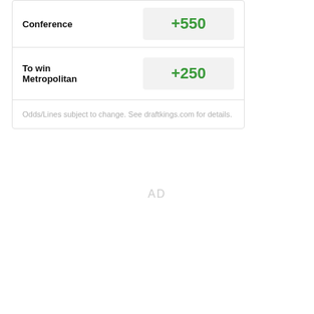| Bet Type | Odds |
| --- | --- |
| Conference | +550 |
| To win Metropolitan | +250 |
Odds/Lines subject to change. See draftkings.com for details.
AD